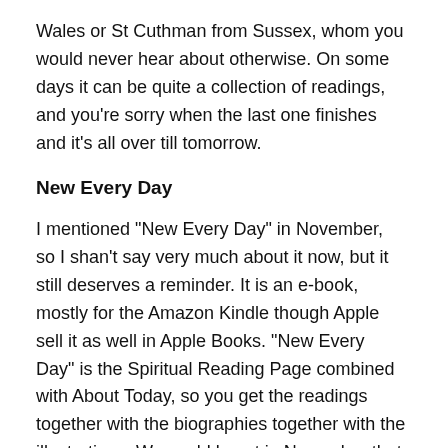Wales or St Cuthman from Sussex, whom you would never hear about otherwise. On some days it can be quite a collection of readings, and you’re sorry when the last one finishes and it’s all over till tomorrow.
New Every Day
I mentioned “New Every Day” in November, so I shan’t say very much about it now, but it still deserves a reminder. It is an e-book, mostly for the Amazon Kindle though Apple sell it as well in Apple Books. “New Every Day” is the Spiritual Reading Page combined with About Today, so you get the readings together with the biographies together with the illustrations. We could boast in November that it had 366 chapters, one for each day of 2020. The year has started now, but there are still 322 days of it left! Have a look at this page, which has a full